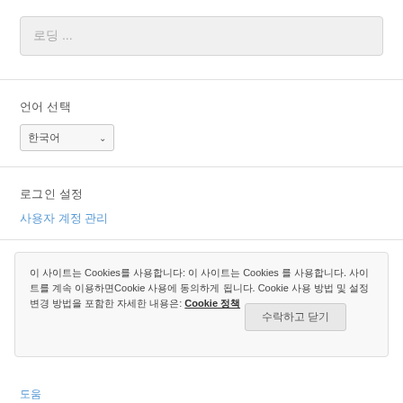로딩 ...
언어 선택
한국어 ▾
로그인 설정
사용자 계정 관리
이 사이트는 Cookies를 사용합니다: 이 사이트는 Cookies 를 사용합니다. 사이트를 계속 이용하면Cookie 사용에 동의하게 됩니다. Cookie 사용 방법 및 설정 변경 방법을 포함한 자세한 내용은: Cookie 정책
수락하고 닫기
도움